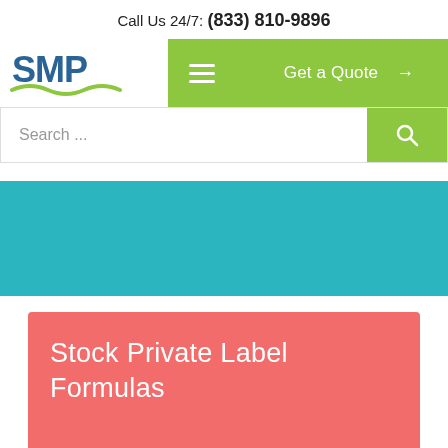Call Us 24/7: (833) 810-9896
[Figure (logo): SMP logo with green wave underline]
Get a Quote →
Search ...
[Figure (illustration): Teal/cyan horizontal banner strip]
Stock Private Label Formulas